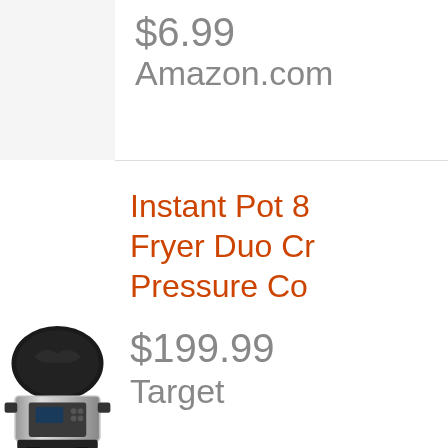$6.99
Amazon.com
[Figure (photo): Instant Pot 8qt Air Fryer Duo Crisp product image]
Instant Pot 8 Fryer Duo Cr Pressure Co
$199.99
Target
[Figure (photo): 12pc 12x12 picture frame gallery kit with matted frames arranged in a grid]
12pc 12" x 1 Kit, Matted T Gallery Perfe
$